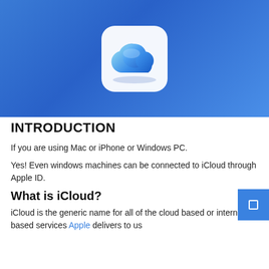[Figure (illustration): iCloud app icon — white rounded rectangle with a blue gradient cloud shape — on a blue gradient background]
INTRODUCTION
If you are using Mac or iPhone or Windows PC.
Yes! Even windows machines can be connected to iCloud through Apple ID.
What is iCloud?
iCloud is the generic name for all of the cloud based or internet-based services Apple delivers to us